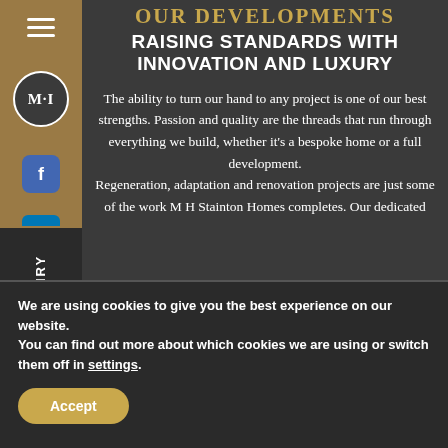OUR DEVELOPMENTS
RAISING STANDARDS WITH INNOVATION AND LUXURY
The ability to turn our hand to any project is one of our best strengths. Passion and quality are the threads that run through everything we build, whether it's a bespoke home or a full development. Regeneration, adaptation and renovation projects are just some of the work M H Stainton Homes completes. Our dedicated
We are using cookies to give you the best experience on our website.
You can find out more about which cookies we are using or switch them off in settings.
Accept